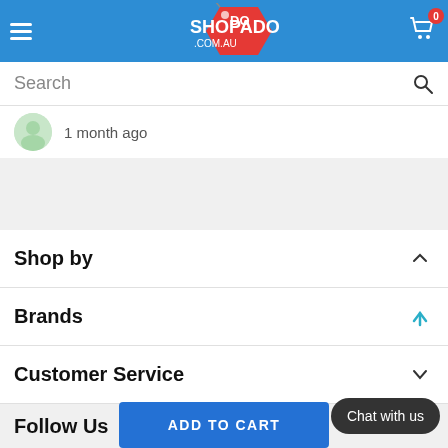SHOPADO.COM.AU header with hamburger menu and cart (0 items)
Search
1 month ago
Shop by
Brands
Customer Service
Follow Us
ADD TO CART
Chat with us